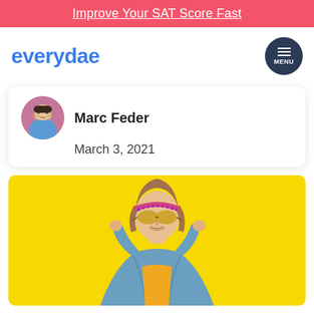Improve Your SAT Score Fast
[Figure (logo): everydae logo in blue text]
[Figure (illustration): Menu button - dark navy circle with hamburger icon and MENU label]
[Figure (photo): Circular profile photo of Marc Feder, a man smiling against a pink background]
Marc Feder
March 3, 2021
[Figure (photo): Photo of a young woman in a denim jacket and yellow top, wearing a colorful headband, posing with hands near her face against a bright yellow background]